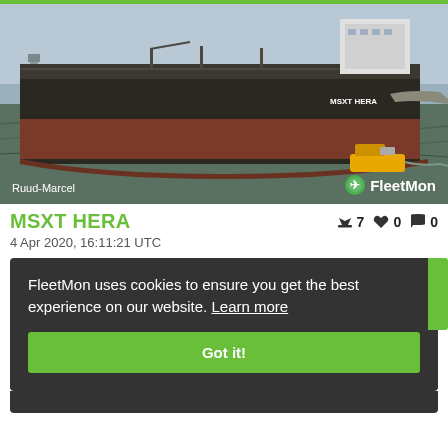[Figure (photo): Large cargo/tanker ship MSXT HERA photographed near a harbor with a tugboat visible, waterline showing red anti-fouling paint. Photo credit: Ruud-Marcel. FleetMon watermark in bottom right corner.]
MSXT HERA
4 Apr 2020, 16:11:21 UTC
FleetMon uses cookies to ensure you get the best experience on our website. Learn more
Got it!